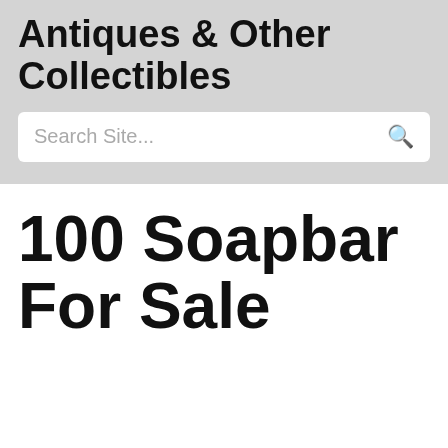Antiques & Other Collectibles
Search Site...
100 Soapbar For Sale